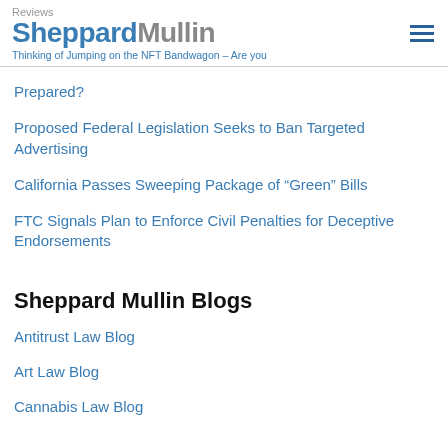Reviews SheppardMullin
Thinking of Jumping on the NFT Bandwagon – Are you Prepared?
Proposed Federal Legislation Seeks to Ban Targeted Advertising
California Passes Sweeping Package of “Green” Bills
FTC Signals Plan to Enforce Civil Penalties for Deceptive Endorsements
Sheppard Mullin Blogs
Antitrust Law Blog
Art Law Blog
Cannabis Law Blog